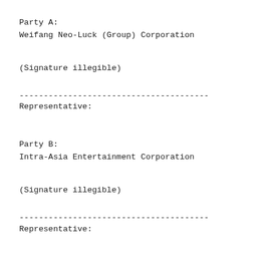Party A:
Weifang Neo-Luck (Group) Corporation
(Signature illegible)
---------------------------------------
Representative:
Party B:
Intra-Asia Entertainment Corporation
(Signature illegible)
---------------------------------------
Representative: